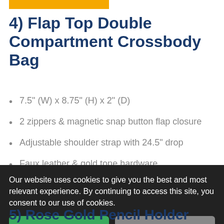[Figure (other): Yellow horizontal bar at top of page]
4) Flap Top Double Compartment Crossbody Bag
7.5" (W) x 8.75" (H) x 2" (D)
2 zippers & magnetic snap button flap closure
Adjustable shoulder strap with 24.5" drop
Faux leather & gold tone hardware
1 zipper pocket & 1 open pocket inside
Our website uses cookies to give you the best and most relevant experience. By continuing to access this site, you consent to our use of cookies.
Okay, Got It!   Do not track
5) Rose Gold Pencil Holder